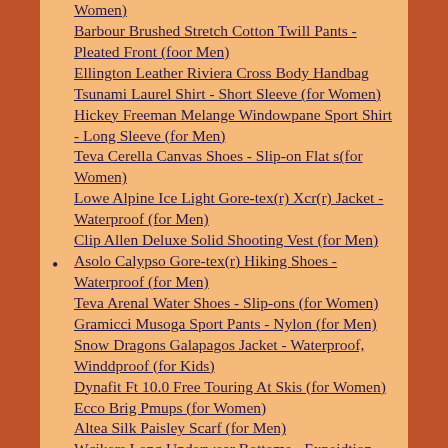Women)
Barbour Brushed Stretch Cotton Twill Pants - Pleated Front (foor Men)
Ellington Leather Riviera Cross Body Handbag
Tsunami Laurel Shirt - Short Sleeve (for Women)
Hickey Freeman Melange Windowpane Sport Shirt - Long Sleeve (for Men)
Teva Cerella Canvas Shoes - Slip-on Flat s(for Women)
Lowe Alpine Ice Light Gore-tex(r) Xcr(r) Jacket - Waterproof (for Men)
Clip Allen Deluxe Solid Shooting Vest (for Men)
Asolo Calypso Gore-tex(r) Hiking Shoes - Waterproof (for Men)
Teva Arenal Water Shoes - Slip-ons (for Women)
Gramicci Musoga Sport Pants - Nylon (for Men)
Snow Dragons Galapagos Jacket - Waterproof, Winddproof (for Kids)
Dynafit Ft 10.0 Free Touring At Skis (for Women)
Ecco Brig Pmups (for Women)
Altea Silk Paisley Scarf (for Men)
Wcikers Long Underwear Bottoms - Expeidtion Weight, Comfortrel(r) (for Women)
Aventura Clothing By Sportif Us aJaceg Shorts - Organic Cotton (for Womem)